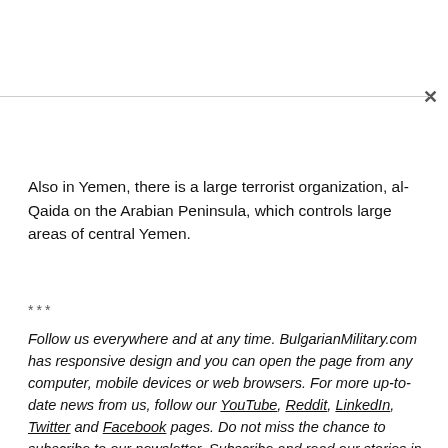Also in Yemen, there is a large terrorist organization, al-Qaida on the Arabian Peninsula, which controls large areas of central Yemen.
***
Follow us everywhere and at any time. BulgarianMilitary.com has responsive design and you can open the page from any computer, mobile devices or web browsers. For more up-to-date news from us, follow our YouTube, Reddit, LinkedIn, Twitter and Facebook pages. Do not miss the chance to subscribe to our newsletter. Subscribe and read our stories in News360App